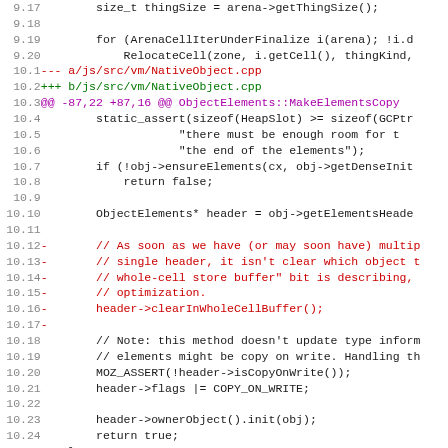[Figure (screenshot): Code diff screenshot showing changes to NativeObject.cpp and NativeObject.h, with line numbers on the left, red lines for deletions, green lines for additions, and magenta for diff headers.]